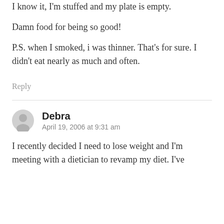I know it, I'm stuffed and my plate is empty.

Damn food for being so good!

P.S. when I smoked, i was thinner. That's for sure. I didn't eat nearly as much and often.
Reply
Debra
April 19, 2006 at 9:31 am
I recently decided I need to lose weight and I'm meeting with a dietician to revamp my diet. I've